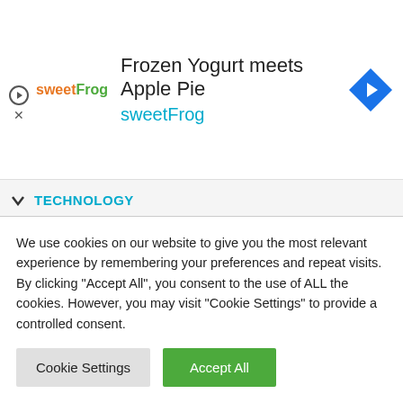[Figure (other): sweetFrog advertisement banner: logo with text 'sweetFrog', headline 'Frozen Yogurt meets Apple Pie', subtext 'sweetFrog' in cyan, with a blue diamond direction arrow icon on the right]
TECHNOLOGY
Redwire Will Get started Superalloy Manufacturing Technology and Plant Science Experiments to Room Station Aboard SpaceX's twenty fourth Shipment Resupply Venture
We use cookies on our website to give you the most relevant experience by remembering your preferences and repeat visits. By clicking "Accept All", you consent to the use of ALL the cookies. However, you may visit "Cookie Settings" to provide a controlled consent.